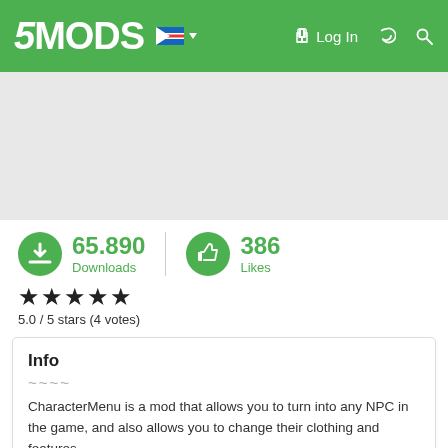5MODS — Log In
[Figure (screenshot): Grey placeholder image area below header]
65.890 Downloads   386 Likes
5.0 / 5 stars (4 votes)
Info
~~~~
CharacterMenu is a mod that allows you to turn into any NPC in the game, and also allows you to change their clothing and features.
You'll have over 500 NPC's to choose from, about 350 of which have customizable options. The 150 or so that don't have any additional options will say [uncustomizable] next to them, and